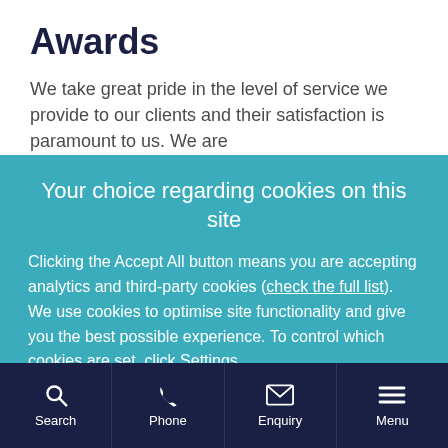Awards
We take great pride in the level of service we provide to our clients and their satisfaction is paramount to us. We are
Your choice regarding cookies on this site
Clicking the Accept All button means you are accepting analytics and third-party cookies (check the full list). We use cookies to optimise site functionality and give you the best possible experience. To control which cookies are set, click Settings.
Accept All   Settings
Search   Phone   Enquiry   Menu